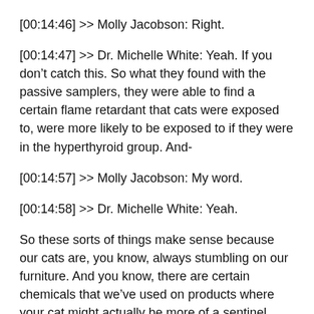[00:14:46] >> Molly Jacobson: Right.
[00:14:47] >> Dr. Michelle White: Yeah. If you don’t catch this. So what they found with the passive samplers, they were able to find a certain flame retardant that cats were exposed to, were more likely to be exposed to if they were in the hyperthyroid group. And-
[00:14:57] >> Molly Jacobson: My word.
[00:14:58] >> Dr. Michelle White: Yeah.
So these sorts of things make sense because our cats are, you know, always stumbling on our furniture. And you know, there are certain chemicals that we’ve used on products where your cat might actually be more of a sentinel than you, because they tend to, you know, stay at home. They don’t go to work, and they’re dealing with